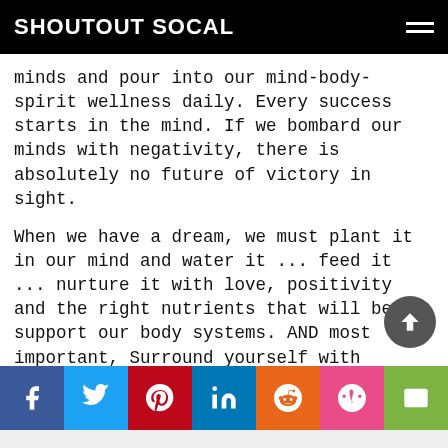SHOUTOUT SOCAL
minds and pour into our mind-body-spirit wellness daily. Every success starts in the mind. If we bombard our minds with negativity, there is absolutely no future of victory in sight.

When we have a dream, we must plant it in our mind and water it ... feed it ... nurture it with love, positivity and the right nutrients that will best support our body systems. AND most important, Surround yourself with people who believe in you and your dream. I will always be here to help to be your best self in mind, body and spirit.